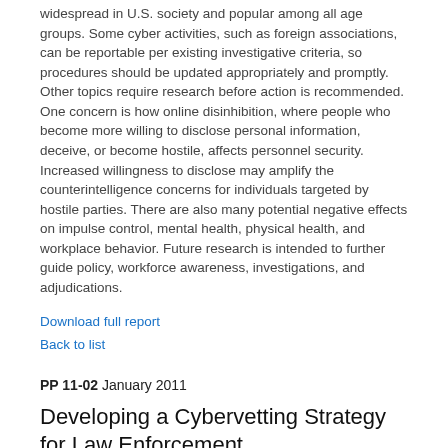widespread in U.S. society and popular among all age groups. Some cyber activities, such as foreign associations, can be reportable per existing investigative criteria, so procedures should be updated appropriately and promptly. Other topics require research before action is recommended. One concern is how online disinhibition, where people who become more willing to disclose personal information, deceive, or become hostile, affects personnel security. Increased willingness to disclose may amplify the counterintelligence concerns for individuals targeted by hostile parties. There are also many potential negative effects on impulse control, mental health, physical health, and workplace behavior. Future research is intended to further guide policy, workforce awareness, investigations, and adjudications.
Download full report
Back to list
PP 11-02 January 2011
Developing a Cybervetting Strategy for Law Enforcement
...